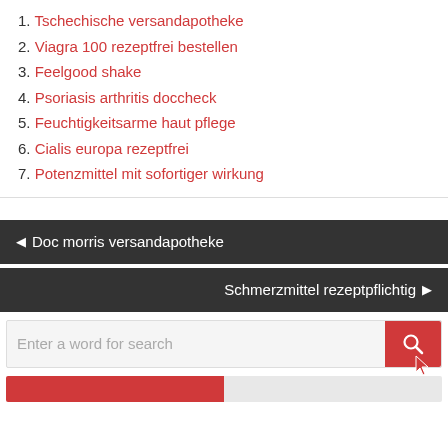1. Tschechische versandapotheke
2. Viagra 100 rezeptfrei bestellen
3. Feelgood shake
4. Psoriasis arthritis doccheck
5. Feuchtigkeitsarme haut pflege
6. Cialis europa rezeptfrei
7. Potenzmittel mit sofortiger wirkung
◀ Doc morris versandapotheke
Schmerzmittel rezeptpflichtig ▶
Enter a word for search